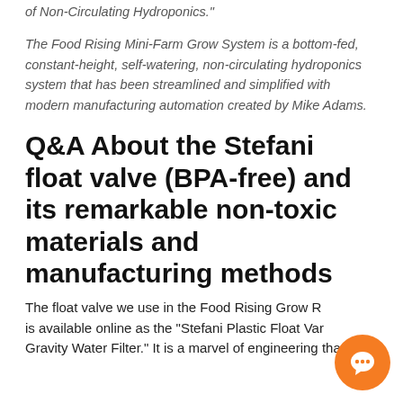Hydroponics and Terry Moore (adult), author of "The Secret of Non-Circulating Hydroponics."
The Food Rising Mini-Farm Grow System is a bottom-fed, constant-height, self-watering, non-circulating hydroponics system that has been streamlined and simplified with modern manufacturing automation created by Mike Adams.
Q&A About the Stefani float valve (BPA-free) and its remarkable non-toxic materials and manufacturing methods
The float valve we use in the Food Rising Grow R... is available online as the "Stefani Plastic Float Va... Gravity Water Filter." It is a marvel of engineering that's